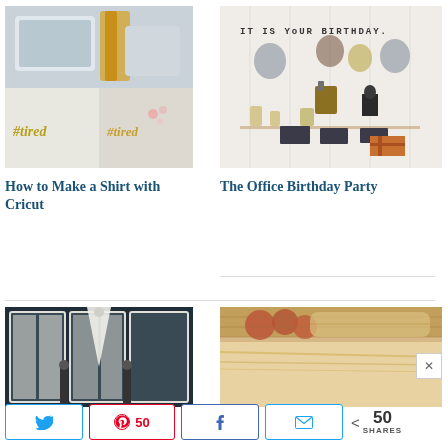[Figure (photo): Collage of Cricut machine with vinyl and t-shirt with #tired lettering]
[Figure (photo): Office birthday party decoration with balloons, figurines, and 'IT IS YOUR BIRTHDAY.' sign]
How to Make a Shirt with Cricut
The Office Birthday Party
[Figure (photo): Dark navy room with white curtains and hanging decorations]
[Figure (photo): Close-up of food dusted with powdered sugar, with apples in background]
50 SHARES